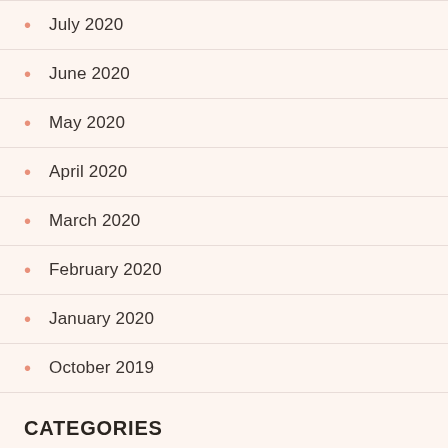July 2020
June 2020
May 2020
April 2020
March 2020
February 2020
January 2020
October 2019
CATEGORIES